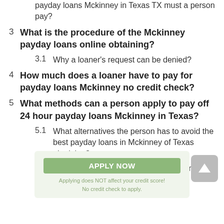payday loans Mckinney in Texas TX must a person pay?
3  What is the procedure of the Mckinney payday loans online obtaining?
3.1  Why a loaner’s request can be denied?
4  How much does a loaner have to pay for payday loans Mckinney no credit check?
5  What methods can a person apply to pay off 24 hour payday loans Mckinney in Texas?
5.1  What alternatives the person has to avoid the best payday loans in Mckinney of Texas obtaining?
5.2  How to choose a reliable credit company?